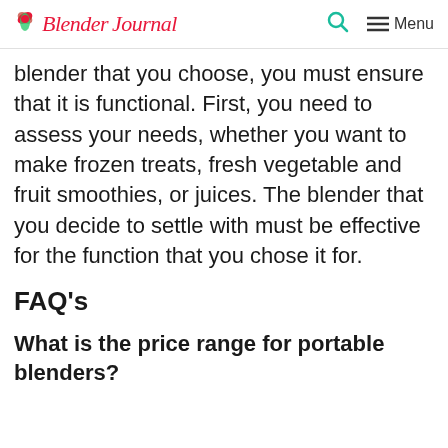Blender Journal  🔍  ≡ Menu
blender that you choose, you must ensure that it is functional. First, you need to assess your needs, whether you want to make frozen treats, fresh vegetable and fruit smoothies, or juices. The blender that you decide to settle with must be effective for the function that you chose it for.
FAQ's
What is the price range for portable blenders?